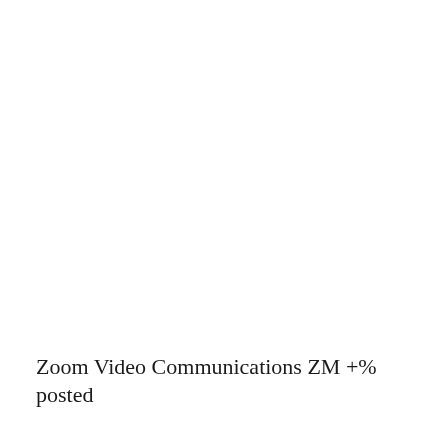Zoom Video Communications ZM +% posted